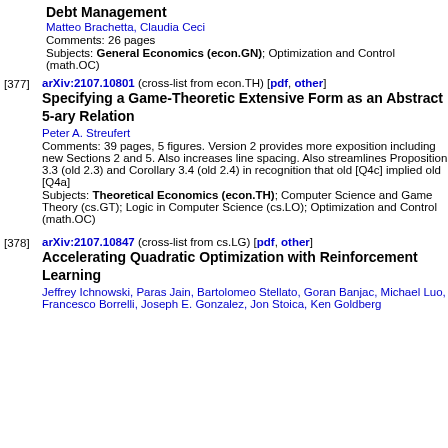Debt Management
Matteo Brachetta, Claudia Ceci
Comments: 26 pages
Subjects: General Economics (econ.GN); Optimization and Control (math.OC)
[377] arXiv:2107.10801 (cross-list from econ.TH) [pdf, other] Specifying a Game-Theoretic Extensive Form as an Abstract 5-ary Relation. Peter A. Streufert. Comments: 39 pages, 5 figures. Version 2 provides more exposition including new Sections 2 and 5. Also increases line spacing. Also streamlines Proposition 3.3 (old 2.3) and Corollary 3.4 (old 2.4) in recognition that old [Q4c] implied old [Q4a]. Subjects: Theoretical Economics (econ.TH); Computer Science and Game Theory (cs.GT); Logic in Computer Science (cs.LO); Optimization and Control (math.OC)
[378] arXiv:2107.10847 (cross-list from cs.LG) [pdf, other] Accelerating Quadratic Optimization with Reinforcement Learning. Jeffrey Ichnowski, Paras Jain, Bartolomeo Stellato, Goran Banjac, Michael Luo, Francesco Borrelli, Joseph E. Gonzalez, Jon Stoica, Ken Goldberg